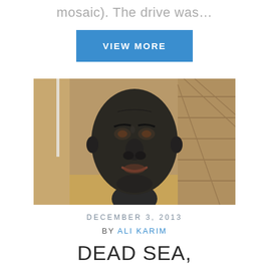mosaic). The drive was…
VIEW MORE
[Figure (photo): Close-up photo of a person with dark mud/clay mask covering their entire face, smiling slightly, with blurred background showing wooden structures and outdoor setting.]
DECEMBER 3, 2013
BY ALI KARIM
DEAD SEA, JORDAN, NOV